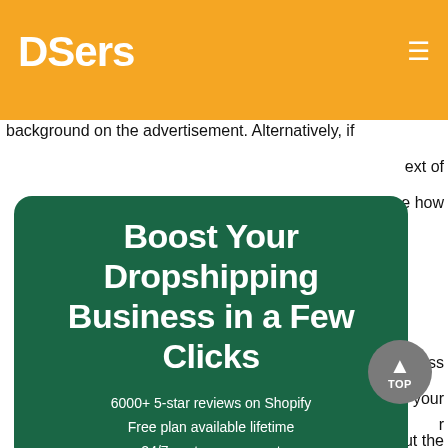DSers
background on the advertisement. Alternatively, if
ext of
ne how
[Figure (infographic): Green rounded rectangle ad card for DSers with headline 'Boost Your Dropshipping Business in a Few Clicks' and subtext '6000+ 5-star reviews on Shopify / Free plan available lifetime / 24/7 customer support']
rocess
your
r
bout the